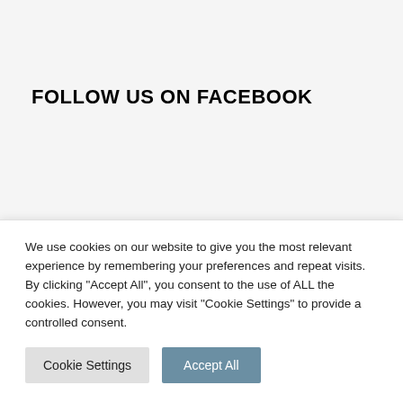FOLLOW US ON FACEBOOK
TODAY !! Ukraine National Day – Wednesday, 24
We use cookies on our website to give you the most relevant experience by remembering your preferences and repeat visits. By clicking "Accept All", you consent to the use of ALL the cookies. However, you may visit "Cookie Settings" to provide a controlled consent.
Cookie Settings
Accept All